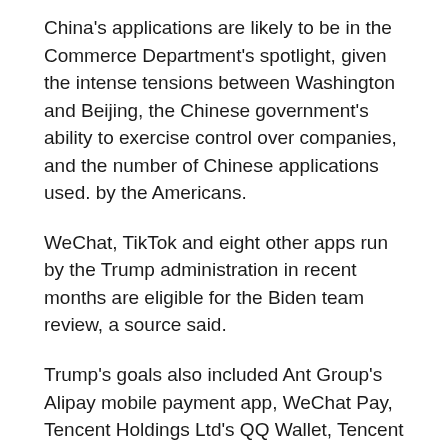China's applications are likely to be in the Commerce Department's spotlight, given the intense tensions between Washington and Beijing, the Chinese government's ability to exercise control over companies, and the number of Chinese applications used. by the Americans.
WeChat, TikTok and eight other apps run by the Trump administration in recent months are eligible for the Biden team review, a source said.
Trump's goals also included Ant Group's Alipay mobile payment app, WeChat Pay, Tencent Holdings Ltd's QQ Wallet, Tencent QQ, CamScanner, SHAREit, VMate published by Alibaba Group subsidiary UCWeb and the WPS office of Beijing Kingsoft Office Software.
Some of the apps named by Trump have serious data